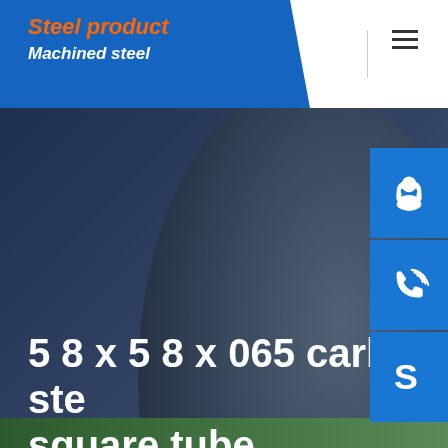Steel product / Machined steel
5 8 x 5 8 x 065 carbon steel square tube
[Figure (illustration): Dark blue hero background with industrial gear/wheel imagery, with three blue side icon buttons for customer support, phone, and Skype]
Home / 5 8 x 5 8 x 065 carbon steel square tube
[Figure (photo): Bottom strip showing industrial steel manufacturing environment]